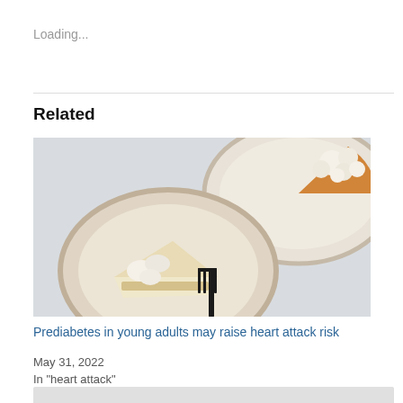Loading...
Related
[Figure (photo): Overhead view of two ceramic plates on a light surface. One plate in the foreground holds a slice of cheesecake with whipped cream and a black fork. The plate in the upper right has a pie with piped whipped cream swirls.]
Prediabetes in young adults may raise heart attack risk
May 31, 2022
In "heart attack"